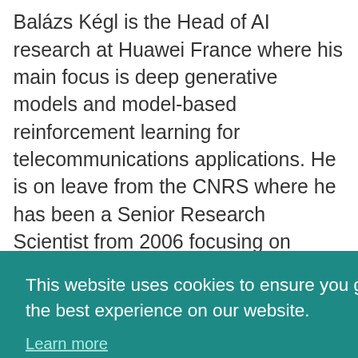Balázs Kégl is the Head of AI research at Huawei France where his main focus is deep generative models and model-based reinforcement learning for telecommunications applications. He is on leave from the CNRS where he has been a Senior Research Scientist from 2006 focusing on machine learning and experimental physics. He was the Head of the Center for Data Science of the
19,
This website uses cookies to ensure you get the best experience on our website.
Learn more
Got it!
RS, he
d
tion
in particle physics, systems biology, and climate